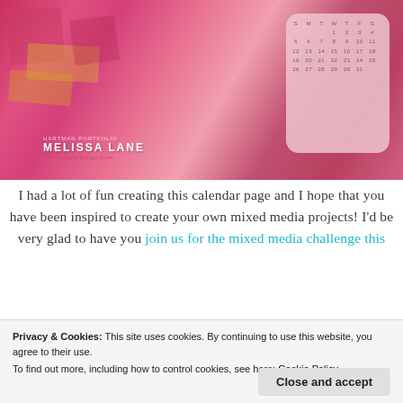[Figure (photo): Mixed media craft calendar page with pink and gold decorative elements, hearts, chevron patterns, sequins. Watermark reading 'MELISSA LANE' and 'mixed media design team' overlaid on image. A calendar card visible on the right side of the image.]
I had a lot of fun creating this calendar page and I hope that you have been inspired to create your own mixed media projects! I'd be very glad to have you join us for the mixed media challenge this
Privacy & Cookies: This site uses cookies. By continuing to use this website, you agree to their use.
To find out more, including how to control cookies, see here: Cookie Policy
Close and accept